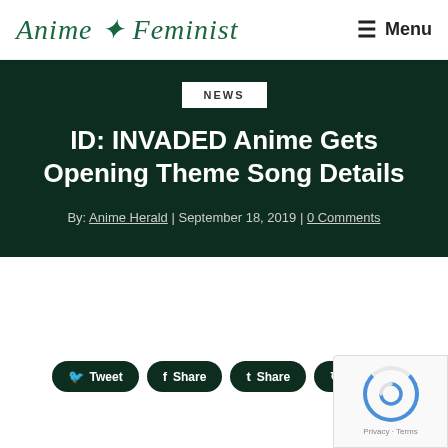Anime Feminist
NEWS
ID: INVADED Anime Gets Opening Theme Song Details
By: Anime Herald | September 18, 2019 | 0 Comments
Tweet
Share
Share
Share